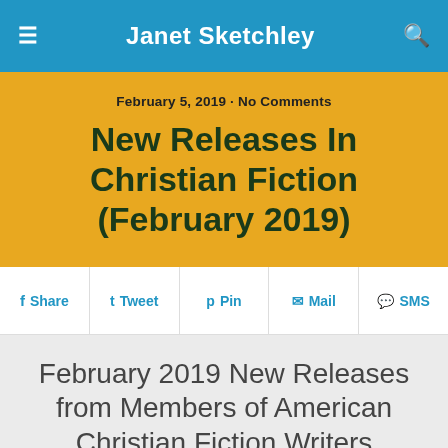Janet Sketchley
February 5, 2019 · No Comments
New Releases In Christian Fiction (February 2019)
Share  Tweet  Pin  Mail  SMS
February 2019 New Releases from Members of American Christian Fiction Writers (ACFW)